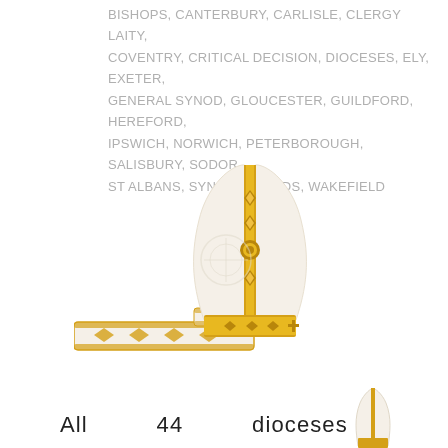BISHOPS, CANTERBURY, CARLISLE, CLERGY LAITY, COVENTRY, CRITICAL DECISION, DIOCESES, ELY, EXETER, GENERAL SYNOD, GLOUCESTER, GUILDFORD, HEREFORD, IPSWICH, NORWICH, PETERBOROUGH, SALISBURY, SODOR, ST ALBANS, SYNOD, SYNODS, WAKEFIELD
[Figure (photo): A white and gold bishop's mitre (ceremonial hat) with ornate golden embroidery featuring diamond and cross patterns along a central vertical band and horizontal band at the base. Two white lappets (ribbons) with golden embroidery hang to the left side.]
All   44   dioceses